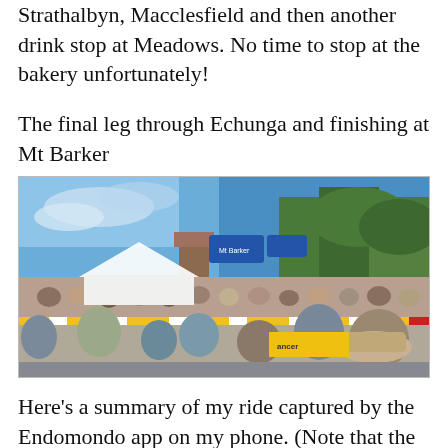Strathalbyn, Macclesfield and then another drink stop at Meadows. No time to stop at the bakery unfortunately!
The final leg through Echunga and finishing at Mt Barker
[Figure (photo): Crowd scene at a cycling race finish line at Mt Barker. People watching from behind barriers with yellow and white sponsor branding. Blue road signs visible, trees and blue sky in background. White tent on left side.]
Here's a summary of my ride captured by the Endomondo app on my phone. (Note that the distance/time includes travelling from my home, but I've edited out that part from the map).